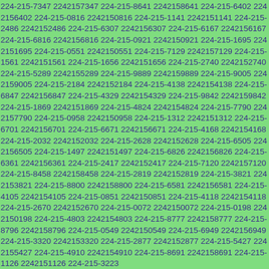224-215-7347 2242157347 224-215-8641 2242158641 224-215-6402 2242156402 224-215-0816 2242150816 224-215-1141 2242151141 224-215-2486 2242152486 224-215-6307 2242156307 224-215-6167 2242156167 224-215-6816 2242156816 224-215-0921 2242150921 224-215-1695 2242151695 224-215-0551 2242150551 224-215-7129 2242157129 224-215-1561 2242151561 224-215-1656 2242151656 224-215-2740 2242152740 224-215-5289 2242155289 224-215-9889 2242159889 224-215-9005 2242159005 224-215-2184 2242152184 224-215-4138 2242154138 224-215-6847 2242156847 224-215-4329 2242154329 224-215-9842 2242159842 224-215-1869 2242151869 224-215-4824 2242154824 224-215-7790 2242157790 224-215-0958 2242150958 224-215-1312 2242151312 224-215-6701 2242156701 224-215-6671 2242156671 224-215-4168 2242154168 224-215-2032 2242152032 224-215-2628 2242152628 224-215-6505 2242156505 224-215-1497 2242151497 224-215-6826 2242156826 224-215-6361 2242156361 224-215-2417 2242152417 224-215-7120 2242157120 224-215-8458 2242158458 224-215-2819 2242152819 224-215-3821 2242153821 224-215-8800 2242158800 224-215-6581 2242156581 224-215-4105 2242154105 224-215-0851 2242150851 224-215-4118 2242154118 224-215-2670 2242152670 224-215-0072 2242150072 224-215-0198 2242150198 224-215-4803 2242154803 224-215-8777 2242158777 224-215-8796 2242158796 224-215-0549 2242150549 224-215-6949 2242156949 224-215-3320 2242153320 224-215-2877 2242152877 224-215-5427 2242155427 224-215-4910 2242154910 224-215-8691 2242158691 224-215-1126 2242151126 224-215-3223